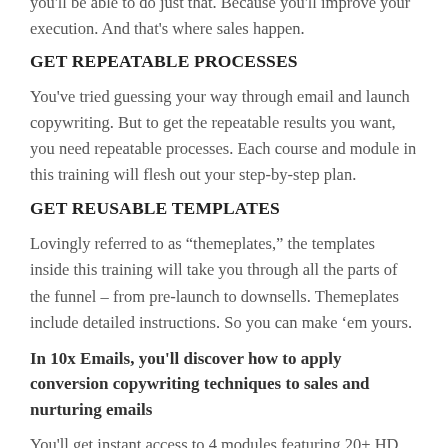you'll be able to do just that. Because you'll improve your execution. And that's where sales happen.
GET REPEATABLE PROCESSES
You've tried guessing your way through email and launch copywriting. But to get the repeatable results you want, you need repeatable processes. Each course and module in this training will flesh out your step-by-step plan.
GET REUSABLE TEMPLATES
Lovingly referred to as “themeplates,” the templates inside this training will take you through all the parts of the funnel – from pre-launch to downsells. Themeplates include detailed instructions. So you can make ‘em yours.
In 10x Emails, you’ll discover how to apply conversion copywriting techniques to sales and nurturing emails
You’ll get instant access to 4 modules featuring 20+ HD